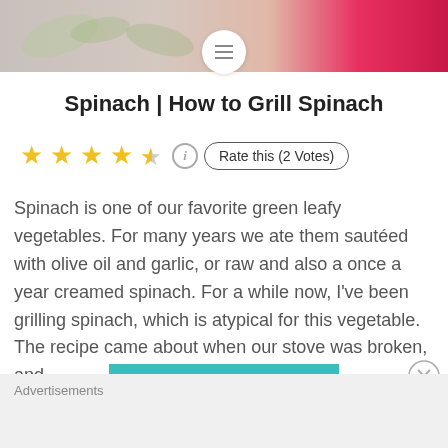[Figure (photo): Top banner photo of colorful vegetables/greens with pink/red tones on right side]
Spinach | How to Grill Spinach
★★★★½  ⓘ  Rate this (2 Votes)
Spinach is one of our favorite green leafy vegetables. For many years we ate them sautéed with olive oil and garlic, or raw and also a once a year creamed spinach. For a while now, I've been grilling spinach, which is atypical for this vegetable. The recipe came about when our stove was broken, and…
READ MORE
Advertisements